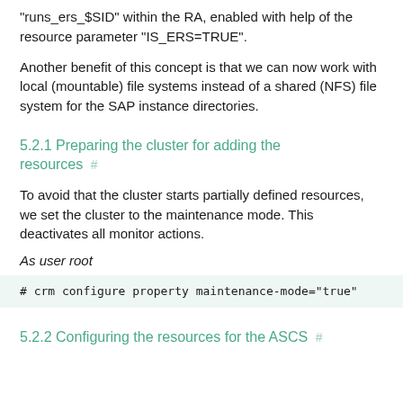"runs_ers_$SID" within the RA, enabled with help of the resource parameter "IS_ERS=TRUE".
Another benefit of this concept is that we can now work with local (mountable) file systems instead of a shared (NFS) file system for the SAP instance directories.
5.2.1 Preparing the cluster for adding the resources #
To avoid that the cluster starts partially defined resources, we set the cluster to the maintenance mode. This deactivates all monitor actions.
As user root
# crm configure property maintenance-mode="true"
5.2.2 Configuring the resources for the ASCS #